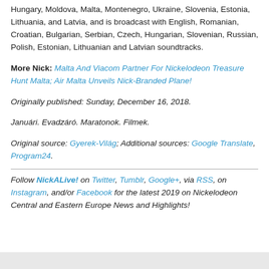Hungary, Moldova, Malta, Montenegro, Ukraine, Slovenia, Estonia, Lithuania, and Latvia, and is broadcast with English, Romanian, Croatian, Bulgarian, Serbian, Czech, Hungarian, Slovenian, Russian, Polish, Estonian, Lithuanian and Latvian soundtracks.
More Nick: Malta And Viacom Partner For Nickelodeon Treasure Hunt Malta; Air Malta Unveils Nick-Branded Plane!
Originally published: Sunday, December 16, 2018.
Januári. Evadzáró. Maratonok. Filmek.
Original source: Gyerek-Világ; Additional sources: Google Translate, Program24.
Follow NickALive! on Twitter, Tumblr, Google+, via RSS, on Instagram, and/or Facebook for the latest 2019 on Nickelodeon Central and Eastern Europe News and Highlights!